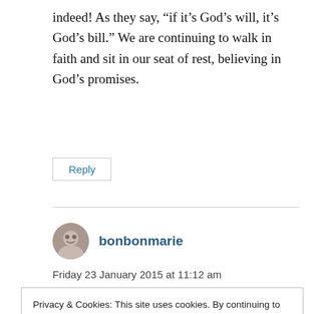indeed! As they say, “if it’s God’s will, it’s God’s bill.” We are continuing to walk in faith and sit in our seat of rest, believing in God’s promises.
Reply
bonbonmarie
Friday 23 January 2015 at 11:12 am
Privacy & Cookies: This site uses cookies. By continuing to use this website, you agree to our privacy and cookies policy. To find out more, including how to control cookies, see here: Privacy and Cookies Policy
Close and accept
away. Yet I have always had plenty with